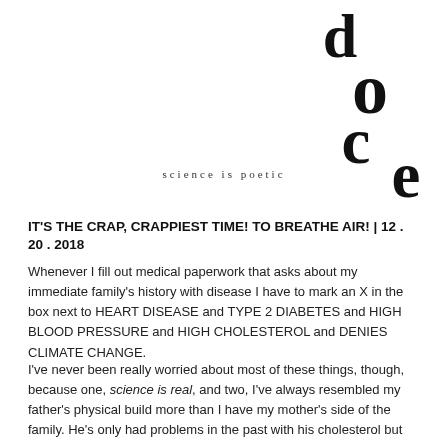[Figure (logo): Doce logo: stylized letters d, o, c, e stacked in large serif typeface]
science is poetic
IT’S THE CRAP, CRAPPIEST TIME! TO BREATHE AIR! | 12 . 20 . 2018
Whenever I fill out medical paperwork that asks about my immediate family’s history with disease I have to mark an X in the box next to HEART DISEASE and TYPE 2 DIABETES and HIGH BLOOD PRESSURE and HIGH CHOLESTEROL and DENIES CLIMATE CHANGE.
I’ve never been really worried about most of these things, though, because one, science is real, and two, I’ve always resembled my father’s physical build more than I have my mother’s side of the family. He’s only had problems in the past with his cholesterol but